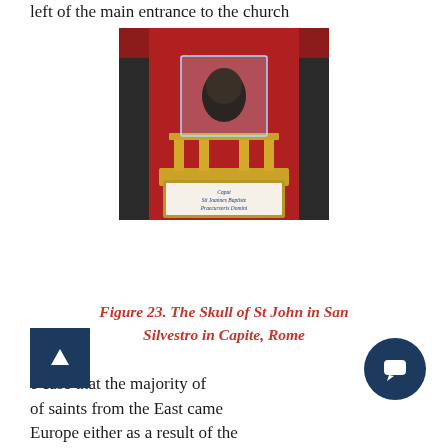left of the main entrance to the church
[Figure (photo): Photograph of the Skull of St John the Baptist displayed in a glass case on a golden stand with red velvet background, inside San Silvestro in Capite, Rome. A decorative label at the bottom reads 'Caput Sti Joannes Baptistae Praecursoris Domini'.]
Figure 23. The Skull of St John in San Silvestro in Capite, Rome
e case that the majority of of saints from the East came Europe either as a result of the